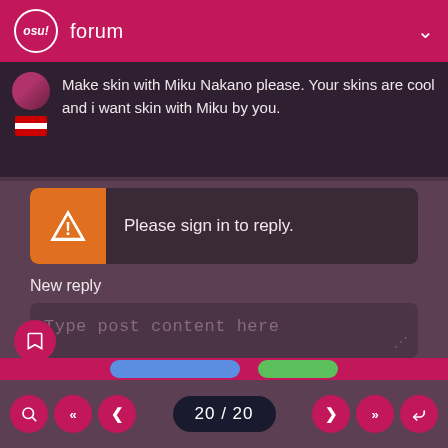osu! forum
Make skin with Miku Nakano please. Your skins are cool and i want skin with Miku by you.
Please sign in to reply.
New reply
Type post content here
20 / 20